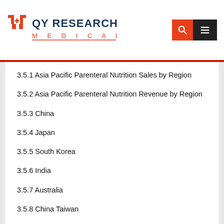QY RESEARCH MEDICAL
3.5.1 Asia Pacific Parenteral Nutrition Sales by Region
3.5.2 Asia Pacific Parenteral Nutrition Revenue by Region
3.5.3 China
3.5.4 Japan
3.5.5 South Korea
3.5.6 India
3.5.7 Australia
3.5.8 China Taiwan